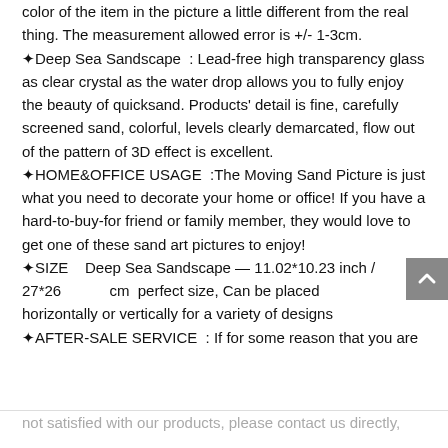color of the item in the picture a little different from the real thing. The measurement allowed error is +/- 1-3cm.
✦Deep Sea Sandscape : Lead-free high transparency glass as clear crystal as the water drop allows you to fully enjoy the beauty of quicksand. Products' detail is fine, carefully screened sand, colorful, levels clearly demarcated, flow out of the pattern of 3D effect is excellent.
✦HOME&OFFICE USAGE :The Moving Sand Picture is just what you need to decorate your home or office! If you have a hard-to-buy-for friend or family member, they would love to get one of these sand art pictures to enjoy!
✦SIZE Deep Sea Sandscape — 11.02*10.23 inch / 27*26 cm perfect size, Can be placed horizontally or vertically for a variety of designs
✦AFTER-SALE SERVICE : If for some reason that you are not satisfied with our products, please contact us directly,